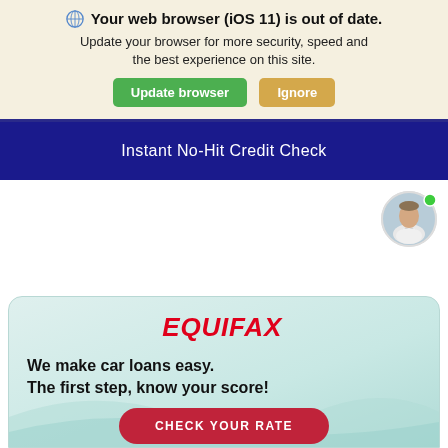🌐 Your web browser (iOS 11) is out of date. Update your browser for more security, speed and the best experience on this site.
Update browser | Ignore
Instant No-Hit Credit Check
[Figure (photo): Chat avatar of a man in white shirt, with a green online indicator dot]
[Figure (logo): Equifax logo in red italic bold text]
We make car loans easy. The first step, know your score!
CHECK YOUR RATE